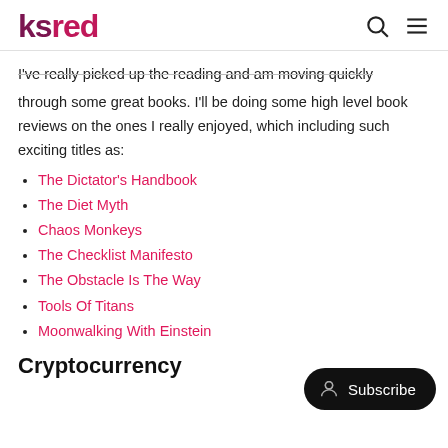ksred
I've really picked up the reading and am moving quickly through some great books. I'll be doing some high level book reviews on the ones I really enjoyed, which including such exciting titles as:
The Dictator's Handbook
The Diet Myth
Chaos Monkeys
The Checklist Manifesto
The Obstacle Is The Way
Tools Of Titans
Moonwalking With Einstein
Cryptocurrency